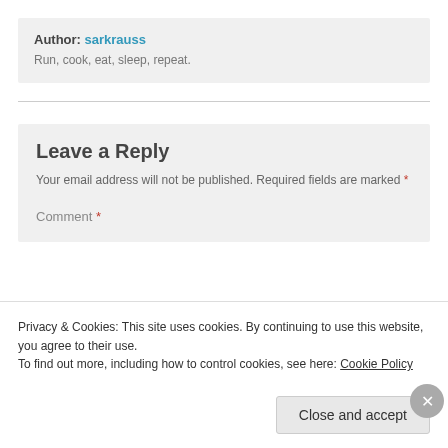Author: sarkrauss
Run, cook, eat, sleep, repeat.
Leave a Reply
Your email address will not be published. Required fields are marked *
Comment *
Privacy & Cookies: This site uses cookies. By continuing to use this website, you agree to their use.
To find out more, including how to control cookies, see here: Cookie Policy